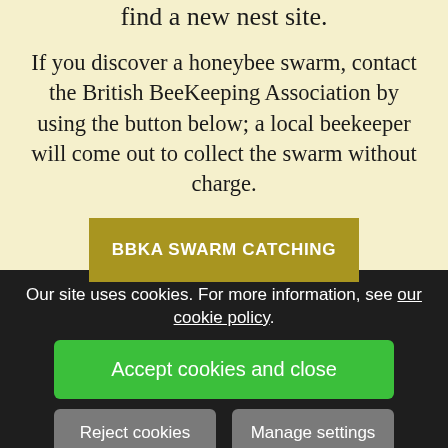find a new nest site.
If you discover a honeybee swarm, contact the British BeeKeeping Association by using the button below; a local beekeeper will come out to collect the swarm without charge.
BBKA SWARM CATCHING
Our site uses cookies. For more information, see our cookie policy.
Accept cookies and close
Reject cookies
Manage settings